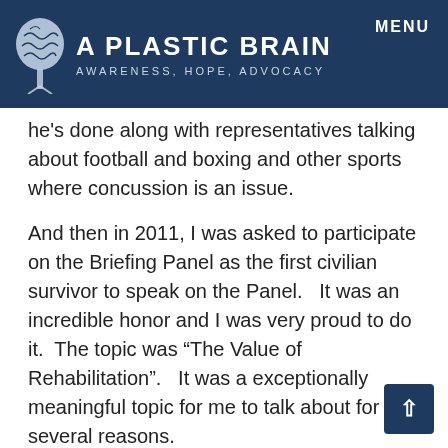A PLASTIC BRAIN AWARENESS, HOPE, ADVOCACY | MENU
he's done along with representatives talking about football and boxing and other sports where concussion is an issue.
And then in 2011, I was asked to participate on the Briefing Panel as the first civilian survivor to speak on the Panel.   It was an incredible honor and I was very proud to do it.  The topic was “The Value of Rehabilitation”.   It was a exceptionally meaningful topic for me to talk about for several reasons.